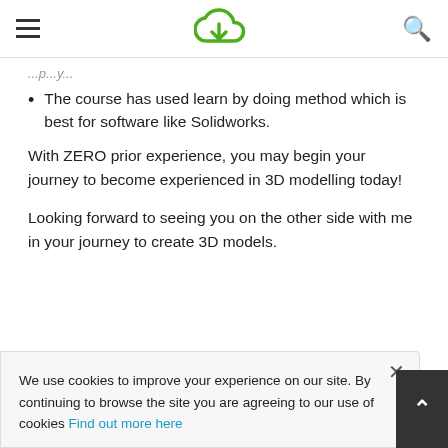[hamburger menu] [cloud download logo] [search icon]
The course has used learn by doing method which is best for software like Solidworks.
With ZERO prior experience, you may begin your journey to become experienced in 3D modelling today!
Looking forward to seeing you on the other side with me in your journey to create 3D models.
We use cookies to improve your experience on our site. By continuing to browse the site you are agreeing to our use of cookies Find out more here
Who this course is for: Anyone who wants to learn 3D modelling using solidworks